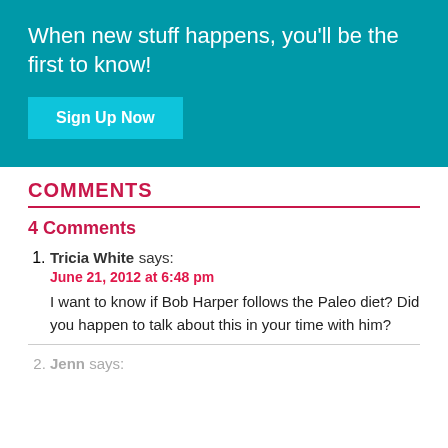When new stuff happens, you'll be the first to know!
Sign Up Now
COMMENTS
4 Comments
Tricia White says:
June 21, 2012 at 6:48 pm
I want to know if Bob Harper follows the Paleo diet? Did you happen to talk about this in your time with him?
Jenn says: